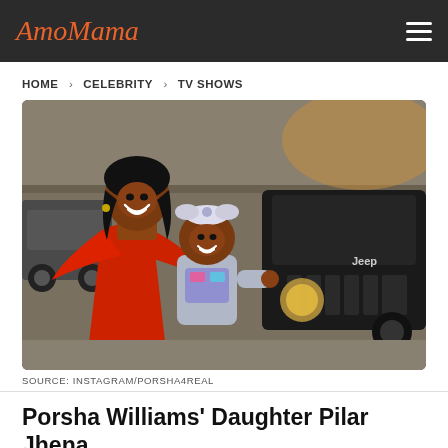AmoMama
HOME > CELEBRITY > TV SHOWS
[Figure (photo): A woman in a red cape dress smiling and holding a toddler girl with a large bow headband, standing in a parking garage in front of a black Jeep.]
SOURCE: INSTAGRAM/PORSHA4REAL
Porsha Williams' Daughter Pilar Jhena